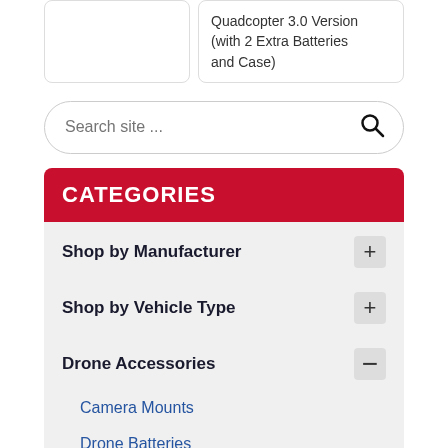(with 2 Extra Batteries and Case)
Search site ...
CATEGORIES
Shop by Manufacturer
Shop by Vehicle Type
Drone Accessories
Camera Mounts
Drone Batteries
Drone Cases
Drone Propellers